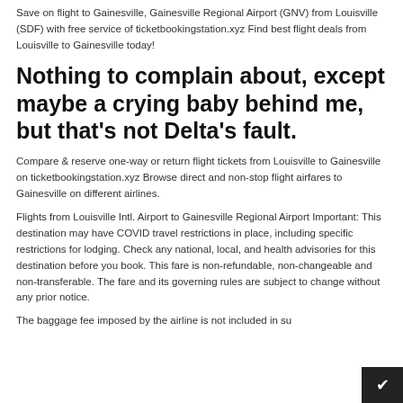Save on flight to Gainesville, Gainesville Regional Airport (GNV) from Louisville (SDF) with free service of ticketbookingstation.xyz Find best flight deals from Louisville to Gainesville today!
Nothing to complain about, except maybe a crying baby behind me, but that's not Delta's fault.
Compare & reserve one-way or return flight tickets from Louisville to Gainesville on ticketbookingstation.xyz Browse direct and non-stop flight airfares to Gainesville on different airlines.
Flights from Louisville Intl. Airport to Gainesville Regional Airport Important: This destination may have COVID travel restrictions in place, including specific restrictions for lodging. Check any national, local, and health advisories for this destination before you book. This fare is non-refundable, non-changeable and non-transferable. The fare and its governing rules are subject to change without any prior notice.
The baggage fee imposed by the airline is not included in su...